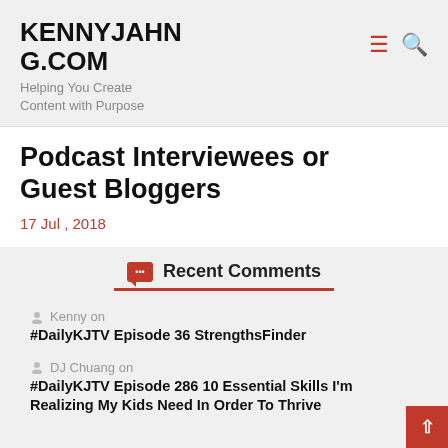KENNYJAHNG.COM
Helping You Create Content with Purpose
Podcast Interviewees or Guest Bloggers
17 Jul , 2018
Recent Comments
Kenny on #DailyKJTV Episode 36 StrengthsFinder
DJ Chuang on #DailyKJTV Episode 286 10 Essential Skills I'm Realizing My Kids Need In Order To Thrive